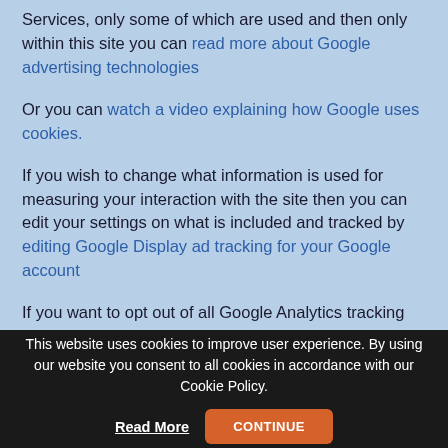If you wish to know more about what Google Display Ad Services, only some of which are used and then only within this site you can read more about Google advertising technologies
Or you can watch a video explaining how Google uses cookies.
If you wish to change what information is used for measuring your interaction with the site then you can edit your settings on what is included and tracked by editing Google Display ad tracking for your Google account
If you want to opt out of all Google Analytics tracking you can alter the settings on your browser to block or implement any no-follow functionality it may provide. Please be aware this impacts your Google account as a whole so
This website uses cookies to improve user experience. By using our website you consent to all cookies in accordance with our Cookie Policy. Read More CONTINUE